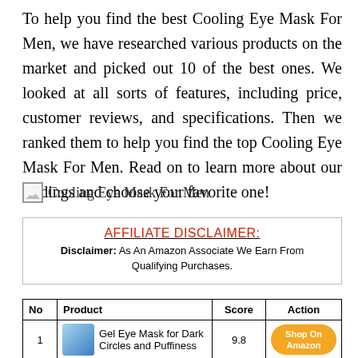To help you find the best Cooling Eye Mask For Men, we have researched various products on the market and picked out 10 of the best ones. We looked at all sorts of features, including price, customer reviews, and specifications. Then we ranked them to help you find the top Cooling Eye Mask For Men. Read on to learn more about our findings and choose your favorite one!
[Figure (photo): Image placeholder for Cooling Eye Mask For Men product photo]
AFFILIATE DISCLAIMER: Disclaimer: As An Amazon Associate We Earn From Qualifying Purchases.
| No | Product | Score | Action |
| --- | --- | --- | --- |
| 1 | Gel Eye Mask for Dark Circles and Puffiness | 9.8 | Shop On Amazon |